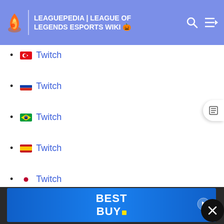LEAGUEPEDIA | LEAGUE OF LEGENDS ESPORTS WIKI
🇹🇷 Twitch
🇷🇺 Twitch
🇧🇷 Twitch
🇪🇸 Twitch
🇯🇵 Twitch
[Figure (screenshot): Gray advertisement placeholder block]
[Figure (screenshot): Best Buy advertisement banner in blue]